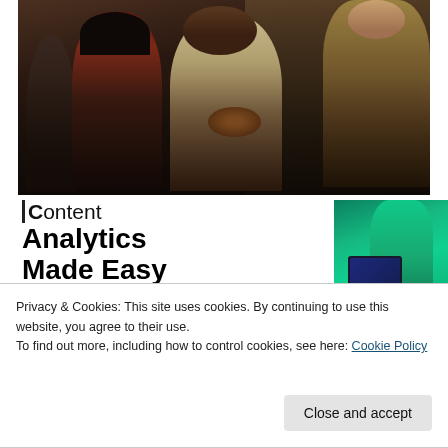[Figure (photo): Film scene with four people in a dark tent/indoor setting. Two dark-haired figures on the left, a man in a light checkered shirt in the center holding an object, and a man in a yellow-tan jacket on the right.]
Content Analytics Made Easy
[Figure (photo): Small photo showing a person in a teal/green top holding or using a dark device/laptop, with a blue-sleeved arm visible.]
Privacy & Cookies: This site uses cookies. By continuing to use this website, you agree to their use.
To find out more, including how to control cookies, see here: Cookie Policy